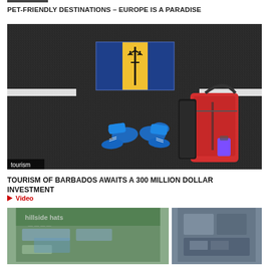PET-FRIENDLY DESTINATIONS – EUROPE IS A PARADISE
[Figure (photo): Aerial view of feet in blue sneakers and a red travel bag on dark asphalt road with Barbados flag painted on road surface. A white stripe crosses the road. Label 'tourism' in bottom left corner.]
TOURISM OF BARBADOS AWAITS A 300 MILLION DOLLAR INVESTMENT
Video
[Figure (photo): Two partially visible blurred images at the bottom of the page — left image shows a building/hotel exterior, right image appears to show a nighttime or interior scene.]